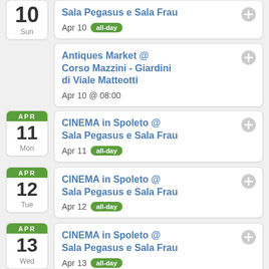CINEMA in Spoleto @ Sala Pegasus e Sala Frau — Apr 10 all-day
Antiques Market @ Corso Mazzini - Giardini di Viale Matteotti — Apr 10 @ 08:00
CINEMA in Spoleto @ Sala Pegasus e Sala Frau — Apr 11 all-day
CINEMA in Spoleto @ Sala Pegasus e Sala Frau — Apr 12 all-day
CINEMA in Spoleto @ Sala Pegasus e Sala Frau — Apr 13 all-day
CINEMA in Spoleto @ — (partial, cut off)